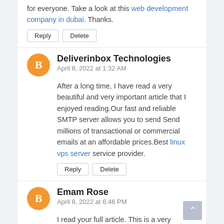for everyone. Take a look at this web development company in dubai. Thanks.
Reply | Delete
Deliverinbox Technologies
April 8, 2022 at 1:32 AM
After a long time, I have read a very beautiful and very important article that I enjoyed reading.Our fast and reliable SMTP server allows you to send Send millions of transactional or commercial emails at an affordable prices.Best linux vps server service provider.
Reply | Delete
Emam Rose
April 8, 2022 at 6:46 PM
I read your full article. This is a very impotent topic. I'm really loving your blog.
I have a very small blog. There I try to write something similar. For Latest News & Update Click Here & you Make Money.